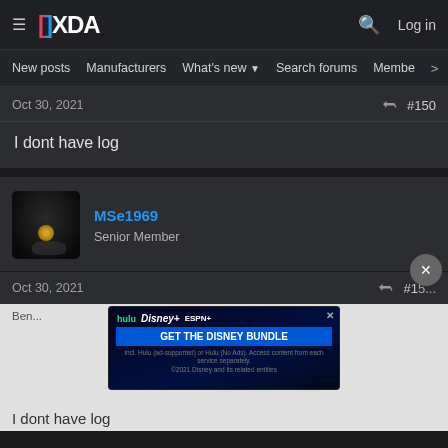XDA Developers forum navigation bar with logo, search, and Log in
New posts  Manufacturers  What's new  Search forums  Membe  >
Oct 30, 2021  #150
I dont have log
MSe1969
Senior Member
Oct 30, 2021  #1...
[Figure (screenshot): Disney Bundle advertisement banner with Hulu, Disney+, ESPN+ logos and GET THE DISNEY BUNDLE call to action]
I dont have log